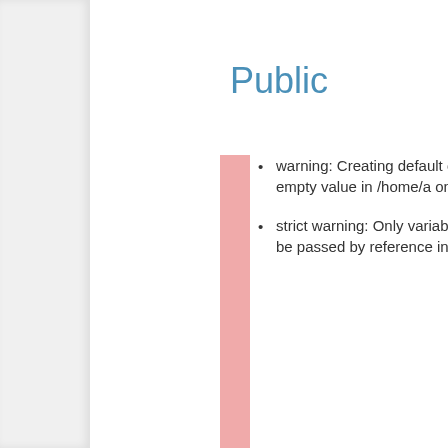Public
warning: Creating default object from empty value in /home/a on line 33.
strict warning: Only variables should be passed by reference in